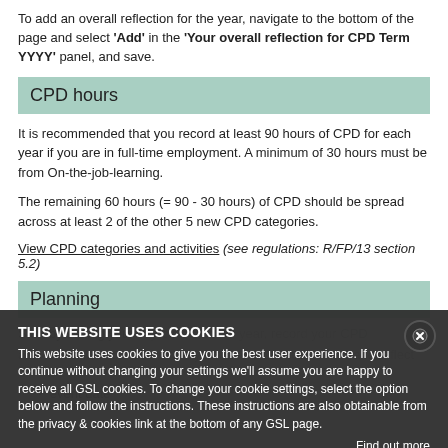To add an overall reflection for the year, navigate to the bottom of the page and select 'Add' in the 'Your overall reflection for CPD Term YYYY' panel, and save.
CPD hours
It is recommended that you record at least 90 hours of CPD for each year if you are in full-time employment. A minimum of 30 hours must be from On-the-job-learning.
The remaining 60 hours (= 90 - 30 hours) of CPD should be spread across at least 2 of the other 5 new CPD categories.
View CPD categories and activities (see regulations: R/FP/13 section 5.2)
Planning
Start by setting your objectives for the year, record your CPD activities and at the end of the year, add an annual review and reflect on
event date
THIS WEBSITE USES COOKIES
This website uses cookies to give you the best user experience. If you continue without changing your settings we'll assume you are happy to receive all GSL cookies. To change your cookie settings, select the option below and follow the instructions. These instructions are also obtainable from the privacy & cookies link at the bottom of any GSL page.
Find out more